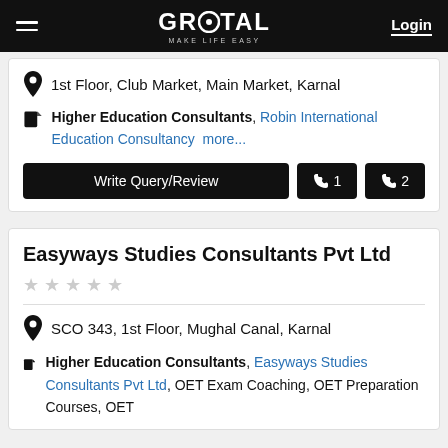GROTAL - MAKE LIFE EASY | Login
1st Floor, Club Market, Main Market, Karnal
Higher Education Consultants, Robin International Education Consultancy more...
Write Query/Review | 1 | 2
Easyways Studies Consultants Pvt Ltd
★★★★★ (no ratings)
SCO 343, 1st Floor, Mughal Canal, Karnal
Higher Education Consultants, Easyways Studies Consultants Pvt Ltd, OET Exam Coaching, OET Preparation Courses, OET